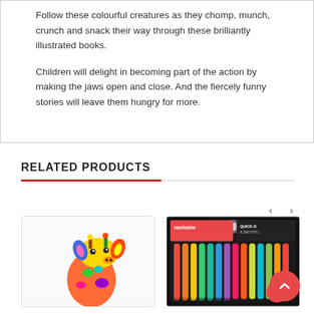Follow these colourful creatures as they chomp, munch, crunch and snack their way through these brilliantly illustrated books.
Children will delight in becoming part of the action by making the jaws open and close. And the fiercely funny stories will leave them hungry for more.
RELATED PRODUCTS
[Figure (photo): Colourful pop-art style giraffe illustration]
[Figure (photo): Washable quick-dry markers product pack]